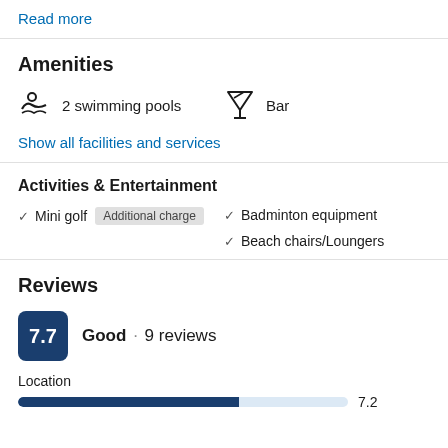Read more
Amenities
2 swimming pools
Bar
Show all facilities and services
Activities & Entertainment
Mini golf  Additional charge
Badminton equipment
Beach chairs/Loungers
Reviews
7.7  Good · 9 reviews
Location
7.2